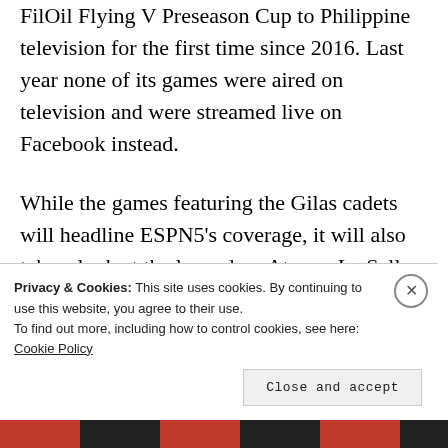FilOil Flying V Preseason Cup to Philippine television for the first time since 2016. Last year none of its games were aired on television and were streamed live on Facebook instead.
While the games featuring the Gilas cadets will headline ESPN5’s coverage, it will also take a look at the legendary Ateneo-La Salle rivalry that will have new recruits getting their first taste of this long
Privacy & Cookies: This site uses cookies. By continuing to use this website, you agree to their use.
To find out more, including how to control cookies, see here: Cookie Policy
Close and accept